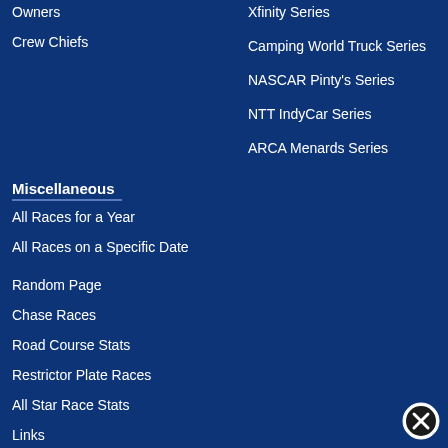Owners
Crew Chiefs
Xfinity Series
Camping World Truck Series
NASCAR Pinty's Series
NTT IndyCar Series
ARCA Menards Series
Miscellaneous
All Races for a Year
All Races on a Specific Date
Random Page
Chase Races
Road Course Stats
Restrictor Plate Races
All Star Race Stats
Links